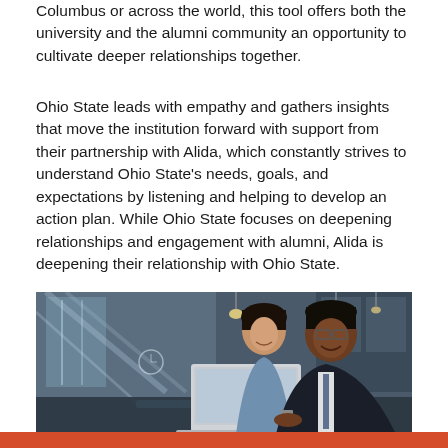Columbus or across the world, this tool offers both the university and the alumni community an opportunity to cultivate deeper relationships together.
Ohio State leads with empathy and gathers insights that move the institution forward with support from their partnership with Alida, which constantly strives to understand Ohio State's needs, goals, and expectations by listening and helping to develop an action plan. While Ohio State focuses on deepening relationships and engagement with alumni, Alida is deepening their relationship with Ohio State.
[Figure (photo): Two business professionals, a woman and a man, smiling and looking at a laptop screen together in a modern office environment with pendant lights in the background.]